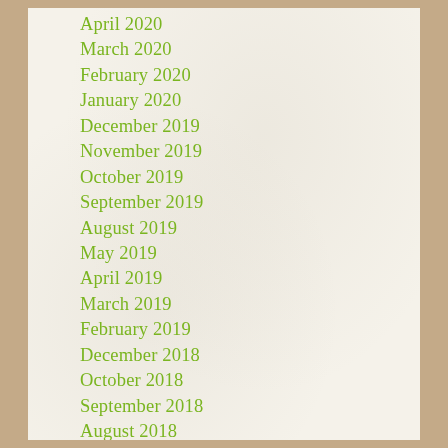April 2020
March 2020
February 2020
January 2020
December 2019
November 2019
October 2019
September 2019
August 2019
May 2019
April 2019
March 2019
February 2019
December 2018
October 2018
September 2018
August 2018
June 2018
May 2018
December 2017
November 2017